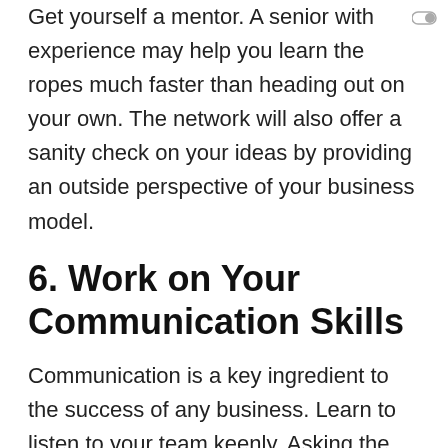Get yourself a mentor. A senior with experience may help you learn the ropes much faster than heading out on your own. The network will also offer a sanity check on your ideas by providing an outside perspective of your business model.
6. Work on Your Communication Skills
Communication is a key ingredient to the success of any business. Learn to listen to your team keenly. Asking the right questions may help you get useful feedback for the running of your startup.